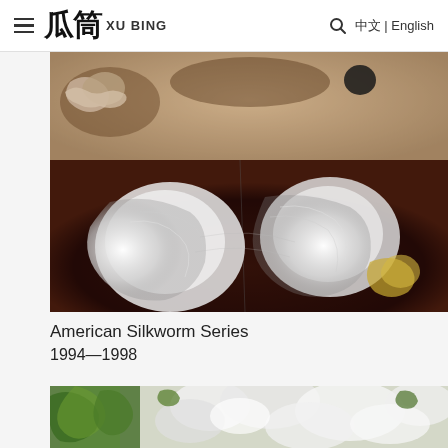≡ 瓜筒 XU BING  🔍 中文 | English
[Figure (photo): Close-up photograph of silkworms and silk cocoons on a dark surface, showing white silk filaments and silkworm larvae. Part of the American Silkworm Series by Xu Bing, 1994-1998.]
American Silkworm Series
1994—1998
[Figure (photo): Partial photograph showing green foliage/leaves and white fluffy plant material, likely related to the silkworm/mulberry theme. Bottom portion of page, partially cropped.]